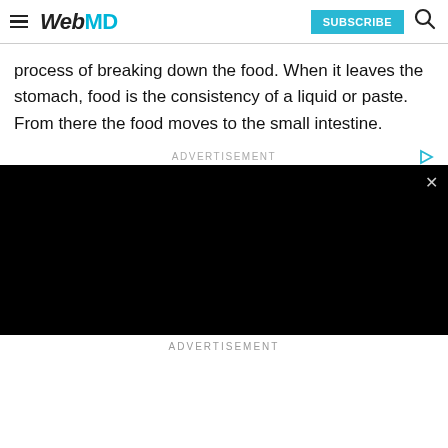WebMD | SUBSCRIBE
process of breaking down the food. When it leaves the stomach, food is the consistency of a liquid or paste. From there the food moves to the small intestine.
[Figure (other): Advertisement video player area with black background and close (×) button in upper right corner]
ADVERTISEMENT
ADVERTISEMENT